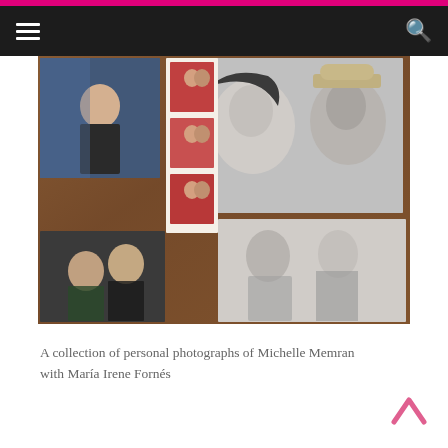[Figure (photo): A collection of personal photographs laid out on a dark wooden surface. The photos include black-and-white and color images showing two people — Michelle Memran and María Irene Fornés — in various settings: candid portraits, photo booth strips, and group shots.]
A collection of personal photographs of Michelle Memran with María Irene Fornés